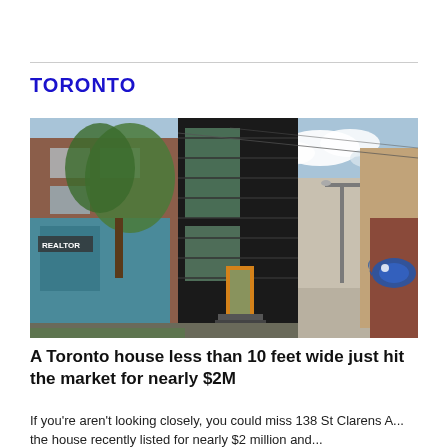TORONTO
[Figure (photo): Exterior street view of a narrow modern house clad in black corrugated metal with large glass windows and an orange-framed door, sandwiched between a brick building and an alley with graffiti on the right wall.]
A Toronto house less than 10 feet wide just hit the market for nearly $2M
If you're aren't looking closely, you could miss 138 St Clarens A... the house recently listed for nearly $2 million and...